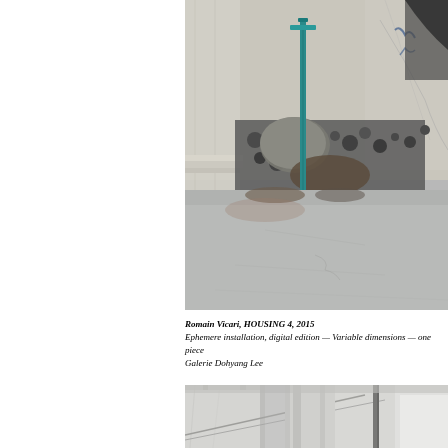[Figure (photo): Art installation photo showing concrete floor, stone blocks and rubble, a teal/turquoise metal rod or post, rough stone walls, and marble or stone slabs with blue marks. The lower half shows a smooth grey concrete floor extending toward the viewer.]
Romain Vicari, HOUSING 4, 2015
Ephemere installation, digital edition — Variable dimensions — one piece
Galerie Dohyang Lee
[Figure (photo): Art installation photo showing white/light grey concrete or plaster columns or architectural elements with diagonal lines and metal rods, photographed from a low angle.]